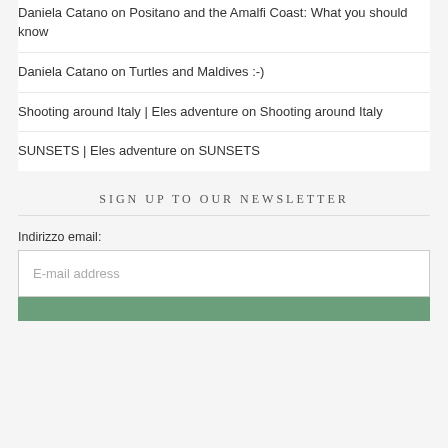Daniela Catano on Positano and the Amalfi Coast: What you should know
Daniela Catano on Turtles and Maldives :-)
Shooting around Italy | Eles adventure on Shooting around Italy
SUNSETS | Eles adventure on SUNSETS
SIGN UP TO OUR NEWSLETTER
Indirizzo email:
E-mail address